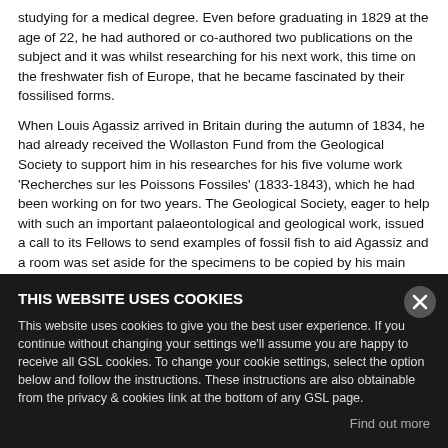studying for a medical degree. Even before graduating in 1829 at the age of 22, he had authored or co-authored two publications on the subject and it was whilst researching for his next work, this time on the freshwater fish of Europe, that he became fascinated by their fossilised forms.
When Louis Agassiz arrived in Britain during the autumn of 1834, he had already received the Wollaston Fund from the Geological Society to support him in his researches for his five volume work 'Recherches sur les Poissons Fossiles' (1833-1843), which he had been working on for two years. The Geological Society, eager to help with such an important palaeontological and geological work, issued a call to its Fellows to send examples of fossil fish to aid Agassiz and a room was set aside for the specimens to be copied by his main artist, the Austrian Joseph Dinkel [1806-1891].
For the next decade, Agassiz continued to visit the palaeontological collections of Britain and Europe seeking out new specimens for his work. The cost of the research involved in such a major work, combined with the expensive colour printing techniques saw Agassiz accepting help from various friends and scientific figures of the time. Despite this, Agassiz still ... collection to the local authorities at Neuchâtel to meet the high production costs, and with nothing left apart from ... 1843 which were then given to the Geological Society
THIS WEBSITE USES COOKIES
This website uses cookies to give you the best user experience. If you continue without changing your settings we'll assume you are happy to receive all GSL cookies. To change your cookie settings, select the option below and follow the instructions. These instructions are also obtainable from the privacy & cookies link at the bottom of any GSL page.
Find out more